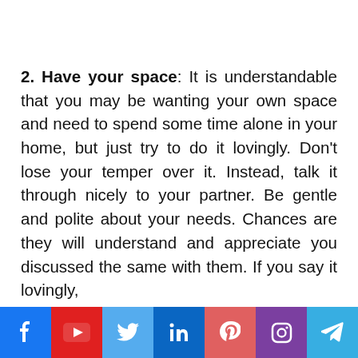2. Have your space: It is understandable that you may be wanting your own space and need to spend some time alone in your home, but just try to do it lovingly. Don't lose your temper over it. Instead, talk it through nicely to your partner. Be gentle and polite about your needs. Chances are they will understand and appreciate you discussed the same with them. If you say it lovingly,
[Figure (infographic): Social media share bar with icons for Facebook, YouTube, Twitter, LinkedIn, Pinterest, Instagram, and Telegram]